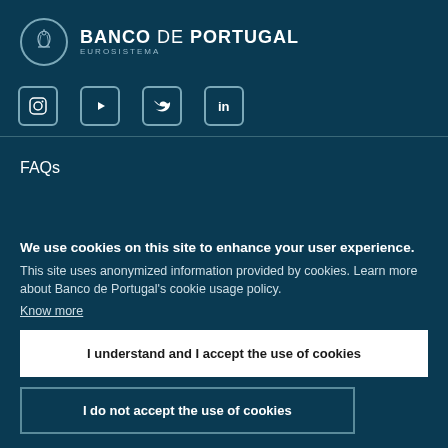[Figure (logo): Banco de Portugal Eurosistema logo with circular emblem and text]
[Figure (other): Social media icons: Instagram, YouTube, Twitter, LinkedIn in rounded square borders]
FAQs
We use cookies on this site to enhance your user experience. This site uses anonymized information provided by cookies. Learn more about Banco de Portugal's cookie usage policy. Know more
I understand and I accept the use of cookies
I do not accept the use of cookies